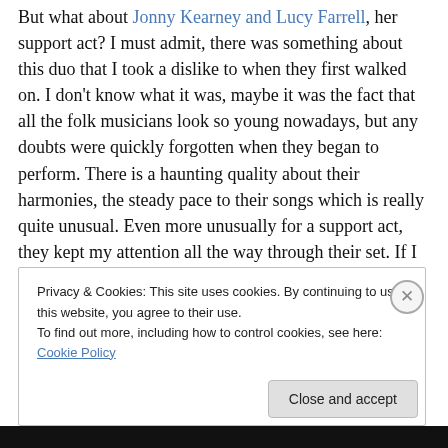But what about Jonny Kearney and Lucy Farrell, her support act?  I must admit, there was something about this duo that I took a dislike to when they first walked on. I don't know what it was, maybe it was the fact that all the folk musicians look so young nowadays, but any doubts were quickly forgotten when they began to perform.  There is a haunting quality about their harmonies, the steady pace to their songs which is really quite unusual.  Even more unusually for a support act, they kept my attention all the way through their set.  If I have one criticism of this pair it was the unvarying nature of the tempo and feel of
Privacy & Cookies: This site uses cookies. By continuing to use this website, you agree to their use.
To find out more, including how to control cookies, see here: Cookie Policy
Close and accept